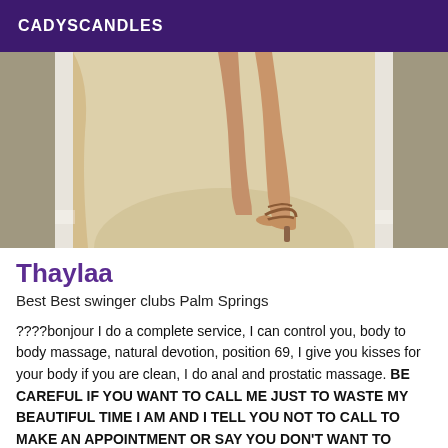CADYSCANDLES
[Figure (photo): Close-up photo of a woman's legs and feet wearing brown strappy high-heeled sandals, standing on a light stone/tile floor between white doorframe columns with warm background lighting.]
Thaylaa
Best Best swinger clubs Palm Springs
????bonjour I do a complete service, I can control you, body to body massage, natural devotion, position 69, I give you kisses for your body if you are clean, I do anal and prostatic massage. BE CAREFUL IF YOU WANT TO CALL ME JUST TO WASTE MY BEAUTIFUL TIME I AM AND I TELL YOU NOT TO CALL TO MAKE AN APPOINTMENT OR SAY YOU DON'T WANT TO COME! WE ARE NOT HERE TO FOOLISH AROUND